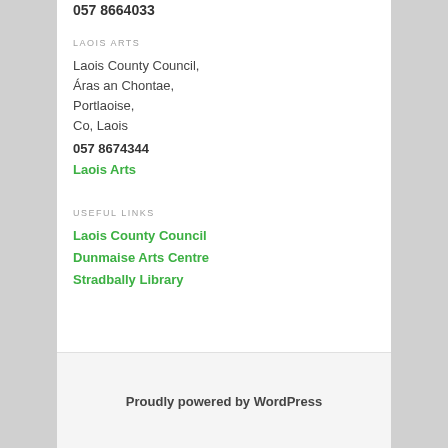057 8664033
LAOIS ARTS
Laois County Council,
Áras an Chontae,
Portlaoise,
Co, Laois
057 8674344
Laois Arts
USEFUL LINKS
Laois County Council
Dunmaise Arts Centre
Stradbally Library
Proudly powered by WordPress